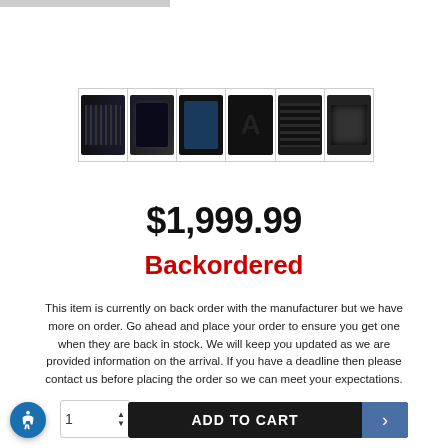[Figure (photo): Six product thumbnail images of audio equipment (equalizers, mixers, rack units) shown in a single row with cell borders]
$1,999.99
Backordered
This item is currently on back order with the manufacturer but we have more on order. Go ahead and place your order to ensure you get one when they are back in stock. We will keep you updated as we are provided information on the arrival. If you have a deadline then please contact us before placing the order so we can meet your expectations.